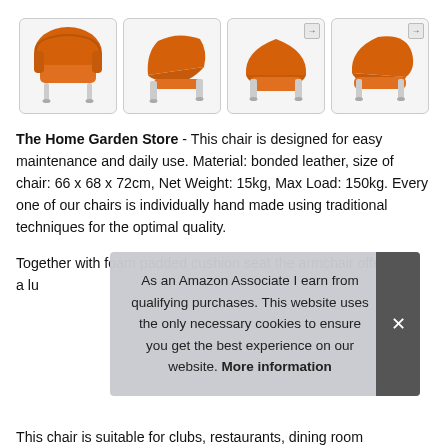[Figure (photo): Four product images of an orange bonded leather tub armchair with chrome legs shown from different angles]
The Home Garden Store - This chair is designed for easy maintenance and daily use. Material: bonded leather, size of chair: 66 x 68 x 72cm, Net Weight: 15kg, Max Load: 150kg. Every one of our chairs is individually hand made using traditional techniques for the optimal quality.
Together with foam padded cushion seat the armchair offers a lu
As an Amazon Associate I earn from qualifying purchases. This website uses the only necessary cookies to ensure you get the best experience on our website. More information
This chair is suitable for clubs, restaurants, dining room